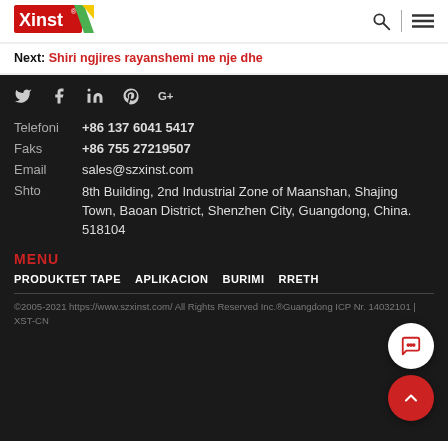Xinst logo with search and menu icons
Next: Shiri ngjires rayanshemi me nje dhe
[Figure (logo): Social media icons: Twitter, Facebook, LinkedIn, Pinterest, Google+]
Telefoni +86 137 6041 5417
Faks +86 755 27219507
Email sales@szxinst.com
Shto 8th Building, 2nd Industrial Zone of Maanshan, Shajing Town, Baoan District, Shenzhen City, Guangdong, China. 518104
MENU
PRODUKTET TAPE
APLIKACION
BURIMI
RRETH
©2005-2021 https://www.szxinst.com/ All Rights Reserved Inc.®Guangdong ICP Nr. 14032101 | XST-CN